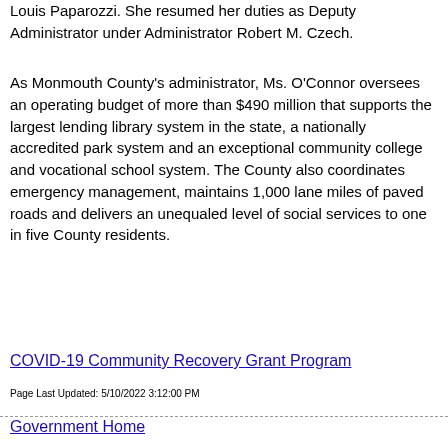Louis Paparozzi. She resumed her duties as Deputy Administrator under Administrator Robert M. Czech.
As Monmouth County's administrator, Ms. O'Connor oversees an operating budget of more than $490 million that supports the largest lending library system in the state, a nationally accredited park system and an exceptional community college and vocational school system. The County also coordinates emergency management, maintains 1,000 lane miles of paved roads and delivers an unequaled level of social services to one in five County residents.
COVID-19 Community Recovery Grant Program
Page Last Updated: 5/10/2022 3:12:00 PM
Government Home